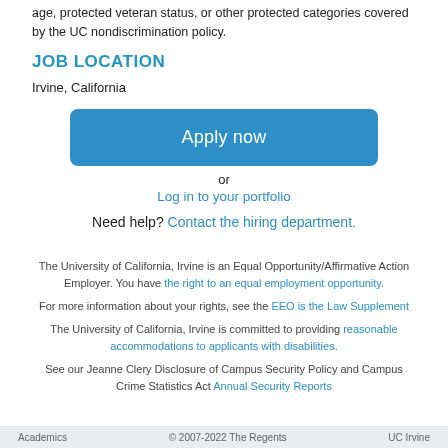age, protected veteran status, or other protected categories covered by the UC nondiscrimination policy.
JOB LOCATION
Irvine, California
[Figure (other): Blue 'Apply now' button]
or
Log in to your portfolio
Need help? Contact the hiring department.
The University of California, Irvine is an Equal Opportunity/Affirmative Action Employer. You have the right to an equal employment opportunity.
For more information about your rights, see the EEO is the Law Supplement
The University of California, Irvine is committed to providing reasonable accommodations to applicants with disabilities.
See our Jeanne Clery Disclosure of Campus Security Policy and Campus Crime Statistics Act Annual Security Reports
Academics   © 2007-2022 The Regents   UC Irvine